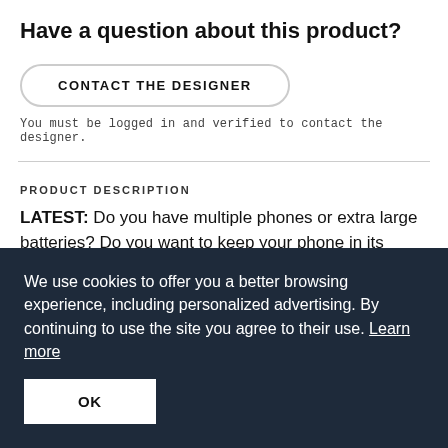Have a question about this product?
CONTACT THE DESIGNER
You must be logged in and verified to contact the designer.
PRODUCT DESCRIPTION
LATEST: Do you have multiple phones or extra large batteries? Do you want to keep your phone in its case? Then check out the new Bike Mount UtorCase for
We use cookies to offer you a better browsing experience, including personalized advertising. By continuing to use the site you agree to their use. Learn more
OK